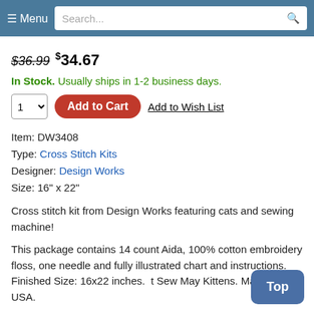Menu  Search...
$36.99 $34.67
In Stock. Usually ships in 1-2 business days.
1  Add to Cart  Add to Wish List
Item: DW3408
Type: Cross Stitch Kits
Designer: Design Works
Size: 16" x 22"
Cross stitch kit from Design Works featuring cats and sewing machine!
This package contains 14 count Aida, 100% cotton embroidery floss, one needle and fully illustrated chart and instructions. Finished Size: 16x22 inches. Sew May Kittens. Made in USA.